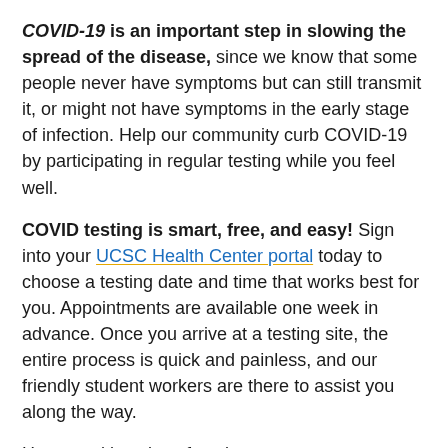COVID-19 is an important step in slowing the spread of the disease, since we know that some people never have symptoms but can still transmit it, or might not have symptoms in the early stage of infection. Help our community curb COVID-19 by participating in regular testing while you feel well.
COVID testing is smart, free, and easy! Sign into your UCSC Health Center portal today to choose a testing date and time that works best for you. Appointments are available one week in advance. Once you arrive at a testing site, the entire process is quick and painless, and our friendly student workers are there to assist you along the way.
Hours and locations for winter quarter are as follows. Note that sites will not take walk-ins during the final 30 minutes they are open.
All testing sites will be closed Monday, January 18, for